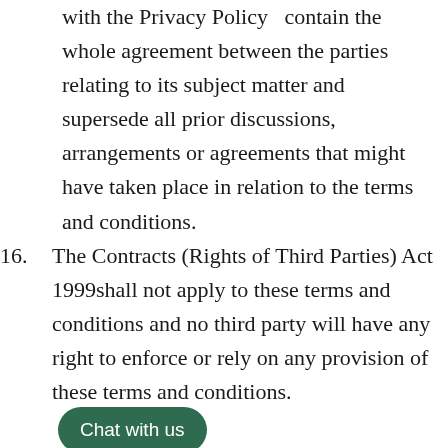with the Privacy Policy contain the whole agreement between the parties relating to its subject matter and supersede all prior discussions, arrangements or agreements that might have taken place in relation to the terms and conditions.
16. The Contracts (Rights of Third Parties) Act 1999shall not apply to these terms and conditions and no third party will have any right to enforce or rely on any provision of these terms and conditions.
17. If any court or competent authority find that any provision of the...